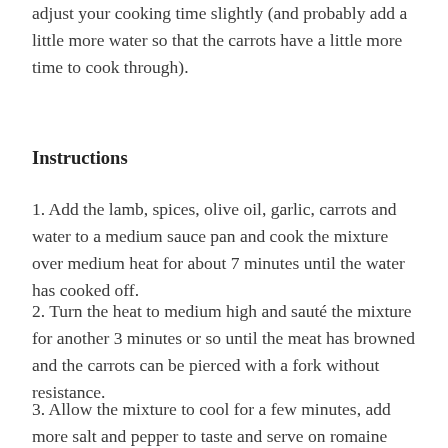adjust your cooking time slightly (and probably add a little more water so that the carrots have a little more time to cook through).
Instructions
1. Add the lamb, spices, olive oil, garlic, carrots and water to a medium sauce pan and cook the mixture over medium heat for about 7 minutes until the water has cooked off.
2. Turn the heat to medium high and sauté the mixture for another 3 minutes or so until the meat has browned and the carrots can be pierced with a fork without resistance.
3. Allow the mixture to cool for a few minutes, add more salt and pepper to taste and serve on romaine lettuce leaves and top with diced tomato.